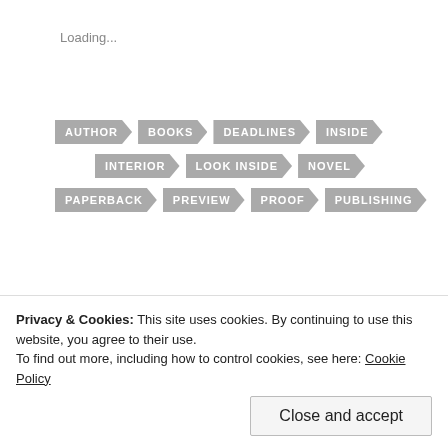Loading...
[Figure (infographic): Tag/label buttons in chevron arrow shape with text: AUTHOR, BOOKS, DEADLINES, INSIDE, INTERIOR, LOOK INSIDE, NOVEL, PAPERBACK, PREVIEW, PROOF, PUBLISHING — all in grey]
[Figure (other): Horizontal dashed divider line with three circular button/sewing-button icons in the center]
PREVIOUS POST
Privacy & Cookies: This site uses cookies. By continuing to use this website, you agree to their use.
To find out more, including how to control cookies, see here: Cookie Policy
Close and accept